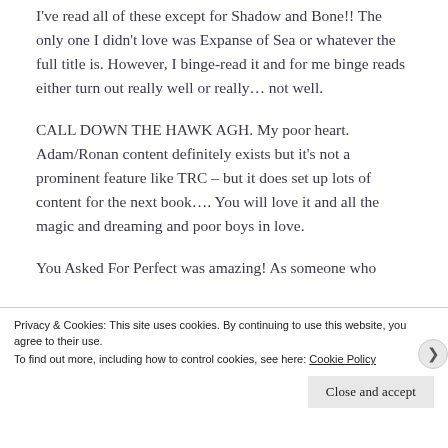I've read all of these except for Shadow and Bone!! The only one I didn't love was Expanse of Sea or whatever the full title is. However, I binge-read it and for me binge reads either turn out really well or really... not well.
CALL DOWN THE HAWK AGH. My poor heart. Adam/Ronan content definitely exists but it's not a prominent feature like TRC – but it does set up lots of content for the next book.... You will love it and all the magic and dreaming and poor boys in love.
You Asked For Perfect was amazing! As someone who
Privacy & Cookies: This site uses cookies. By continuing to use this website, you agree to their use.
To find out more, including how to control cookies, see here: Cookie Policy